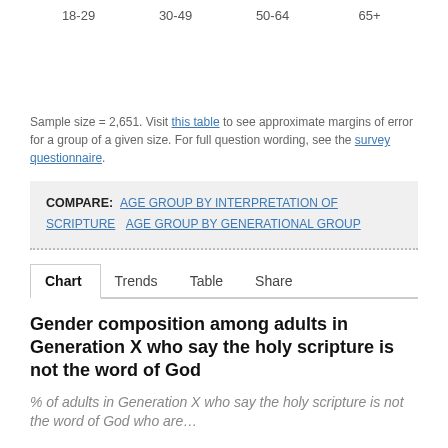18-29  30-49  50-64  65+
Sample size = 2,651. Visit this table to see approximate margins of error for a group of a given size. For full question wording, see the survey questionnaire.
COMPARE: AGE GROUP BY INTERPRETATION OF SCRIPTURE  AGE GROUP BY GENERATIONAL GROUP
Chart  Trends  Table  Share
Gender composition among adults in Generation X who say the holy scripture is not the word of God
% of adults in Generation X who say the holy scripture is not the word of God who are...